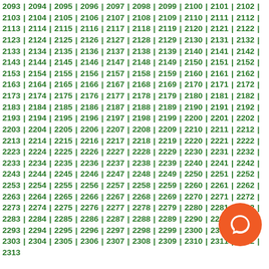2093 | 2094 | 2095 | 2096 | 2097 | 2098 | 2099 | 2100 | 2101 | 2102 | 2103 | 2104 | 2105 | 2106 | 2107 | 2108 | 2109 | 2110 | 2111 | 2112 | 2113 | 2114 | 2115 | 2116 | 2117 | 2118 | 2119 | 2120 | 2121 | 2122 | 2123 | 2124 | 2125 | 2126 | 2127 | 2128 | 2129 | 2130 | 2131 | 2132 | 2133 | 2134 | 2135 | 2136 | 2137 | 2138 | 2139 | 2140 | 2141 | 2142 | 2143 | 2144 | 2145 | 2146 | 2147 | 2148 | 2149 | 2150 | 2151 | 2152 | 2153 | 2154 | 2155 | 2156 | 2157 | 2158 | 2159 | 2160 | 2161 | 2162 | 2163 | 2164 | 2165 | 2166 | 2167 | 2168 | 2169 | 2170 | 2171 | 2172 | 2173 | 2174 | 2175 | 2176 | 2177 | 2178 | 2179 | 2180 | 2181 | 2182 | 2183 | 2184 | 2185 | 2186 | 2187 | 2188 | 2189 | 2190 | 2191 | 2192 | 2193 | 2194 | 2195 | 2196 | 2197 | 2198 | 2199 | 2200 | 2201 | 2202 | 2203 | 2204 | 2205 | 2206 | 2207 | 2208 | 2209 | 2210 | 2211 | 2212 | 2213 | 2214 | 2215 | 2216 | 2217 | 2218 | 2219 | 2220 | 2221 | 2222 | 2223 | 2224 | 2225 | 2226 | 2227 | 2228 | 2229 | 2230 | 2231 | 2232 | 2233 | 2234 | 2235 | 2236 | 2237 | 2238 | 2239 | 2240 | 2241 | 2242 | 2243 | 2244 | 2245 | 2246 | 2247 | 2248 | 2249 | 2250 | 2251 | 2252 | 2253 | 2254 | 2255 | 2256 | 2257 | 2258 | 2259 | 2260 | 2261 | 2262 | 2263 | 2264 | 2265 | 2266 | 2267 | 2268 | 2269 | 2270 | 2271 | 2272 | 2273 | 2274 | 2275 | 2276 | 2277 | 2278 | 2279 | 2280 | 2281 | 2282 | 2283 | 2284 | 2285 | 2286 | 2287 | 2288 | 2289 | 2290 | 2291 | 2292 | 2293 | 2294 | 2295 | 2296 | 2297 | 2298 | 2299 | 2300 | 2301 | 2302 | 2303 | 2304 | 2305 | 2306 | 2307 | 2308 | 2309 | 2310 | 2311 | 2312 | 2313